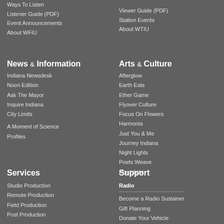Ways To Listen
Listener Guide (PDF)
Event Announcements
About WFIU
Viewer Guide (PDF)
Station Events
About WTIU
News & Information
Indiana Newsdesk
Noon Edition
Ask The Mayor
Inquire Indiana
City Limits
A Moment of Science
Profiles
Arts & Culture
Afterglow
Earth Eats
Ether Game
Flyover Culture
Focus On Flowers
Harmonia
Just You & Me
Journey Indiana
Night Lights
Poets Weave
Porchlight
Services
Studio Production
Remote Production
Field Production
Post Production
Support
Radio
Become a Radio Sustainer
Gift Planning
Donate Your Vehicle